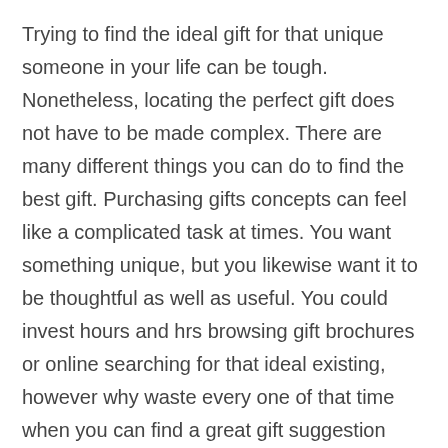Trying to find the ideal gift for that unique someone in your life can be tough. Nonetheless, locating the perfect gift does not have to be made complex. There are many different things you can do to find the best gift. Purchasing gifts concepts can feel like a complicated task at times. You want something unique, but you likewise want it to be thoughtful as well as useful. You could invest hours and hrs browsing gift brochures or online searching for that ideal existing, however why waste every one of that time when you can find a great gift suggestion right here? Below are some handy tips that will aid you find unique gifts ideas this holiday.